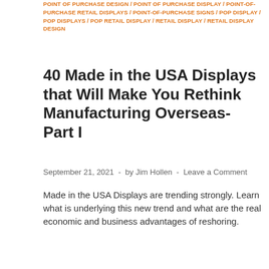POINT OF PURCHASE DESIGN / POINT OF PURCHASE DISPLAY / POINT-OF-PURCHASE RETAIL DISPLAYS / POINT-OF-PURCHASE SIGNS / POP DISPLAY / POP DISPLAYS / POP RETAIL DISPLAY / RETAIL DISPLAY / RETAIL DISPLAY DESIGN
40 Made in the USA Displays that Will Make You Rethink Manufacturing Overseas- Part I
September 21, 2021  -  by Jim Hollen  -  Leave a Comment
Made in the USA Displays are trending strongly. Learn what is underlying this new trend and what are the real economic and business advantages of reshoring.
READ MORE
[Figure (photo): Dark photograph showing a person wearing a cap, partially visible at bottom of page]